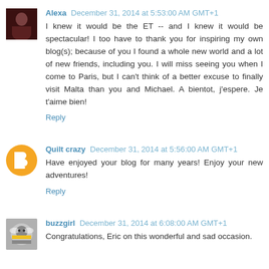Alexa December 31, 2014 at 5:53:00 AM GMT+1
I knew it would be the ET -- and I knew it would be spectacular! I too have to thank you for inspiring my own blog(s); because of you I found a whole new world and a lot of new friends, including you. I will miss seeing you when I come to Paris, but I can't think of a better excuse to finally visit Malta than you and Michael. A bientot, j'espere. Je t'aime bien!
Reply
Quilt crazy December 31, 2014 at 5:56:00 AM GMT+1
Have enjoyed your blog for many years! Enjoy your new adventures!
Reply
buzzgirl December 31, 2014 at 6:08:00 AM GMT+1
Congratulations, Eric on this wonderful and sad occasion.